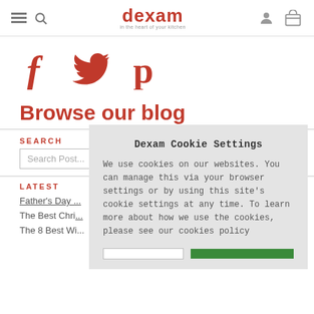dexam — in the heart of your kitchen
[Figure (illustration): Social media icons: Facebook (f), Twitter (bird), Pinterest (p) in red]
Browse our blog
SEARCH
Search Posts...
LATEST
Father's Day ...
The Best Chri... Cook
The 8 Best Wi...
[Figure (screenshot): Cookie settings modal overlay with title 'Dexam Cookie Settings', descriptive text about cookie usage and policy, and Accept/Decline buttons]